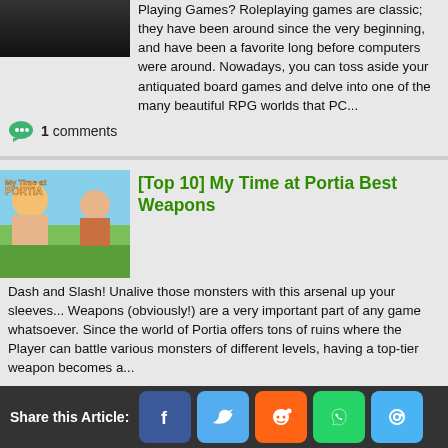[Figure (photo): Dark thumbnail image at top of first article (partially cut off)]
Playing Games? Roleplaying games are classic; they have been around since the very beginning, and have been a favorite long before computers were around. Nowadays, you can toss aside your antiquated board games and delve into one of the many beautiful RPG worlds that PC...
1 comments
[Figure (photo): My Time at Portia game banner showing characters in colorful art style]
[Top 10] My Time at Portia Best Weapons
Dash and Slash! Unalive those monsters with this arsenal up your sleeves... Weapons (obviously!) are a very important part of any game whatsoever. Since the world of Portia offers tons of ruins where the Player can battle various monsters of different levels, having a top-tier weapon becomes a...
0 comments
10 Differences Between Single-Player RPGs and MMORPGs
Share this Article: